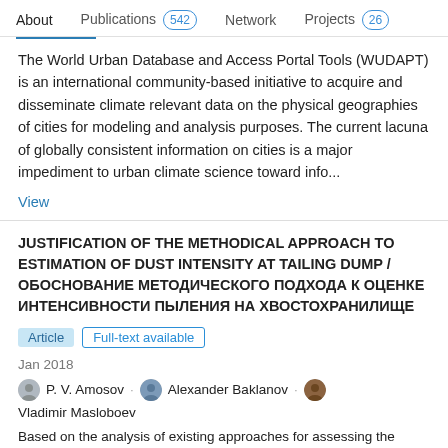About  Publications 542  Network  Projects 26
The World Urban Database and Access Portal Tools (WUDAPT) is an international community-based initiative to acquire and disseminate climate relevant data on the physical geographies of cities for modeling and analysis purposes. The current lacuna of globally consistent information on cities is a major impediment to urban climate science toward info...
View
JUSTIFICATION OF THE METHODICAL APPROACH TO ESTIMATION OF DUST INTENSITY AT TAILING DUMP / ОБОСНОВАНИЕ МЕТОДИЧЕСКОГО ПОДХОДА К ОЦЕНКЕ ИНТЕНСИВНОСТИ ПЫЛЕНИЯ НА ХВОСТОХРАНИЛИЩЕ
Article  Full-text available
Jan 2018
P. V. Amosov · Alexander Baklanov · Vladimir Masloboev
Based on the analysis of existing approaches for assessing the horizontal and vertical fluxes of mass with a dusting of surfaces